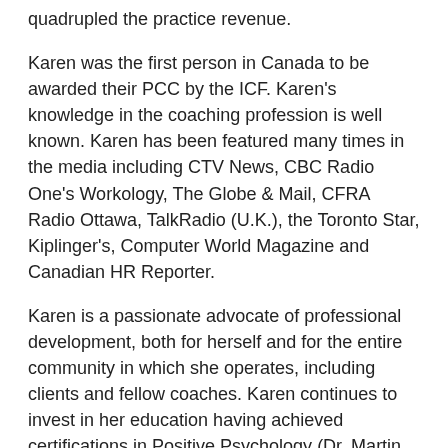quadrupled the practice revenue.
Karen was the first person in Canada to be awarded their PCC by the ICF. Karen's knowledge in the coaching profession is well known. Karen has been featured many times in the media including CTV News, CBC Radio One's Workology, The Globe & Mail, CFRA Radio Ottawa, TalkRadio (U.K.), the Toronto Star, Kiplinger's, Computer World Magazine and Canadian HR Reporter.
Karen is a passionate advocate of professional development, both for herself and for the entire community in which she operates, including clients and fellow coaches. Karen continues to invest in her education having achieved certifications in Positive Psychology (Dr. Martin Seligman's Authentic Happiness coach training program), Neuroscience, Health Coaching (Institute of Integrative Nutrition) and Mindfulness (The Potential Project). Karen was invited by www.Chief.com to recruit, train and mentor a team of 80+ executive coaches in support of the acceleration and advancement of women into executive roles.